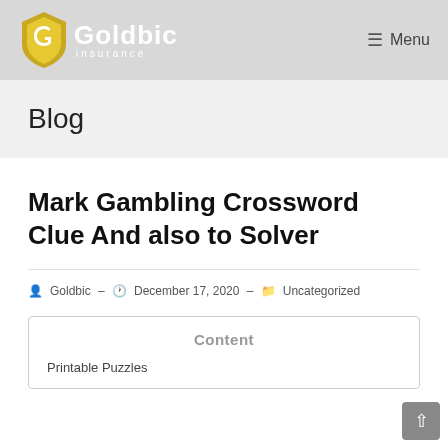Goldbic Insurance — Menu
Blog
Mark Gambling Crossword Clue And also to Solver
Goldbic – December 17, 2020 – Uncategorized
Content
Printable Puzzles